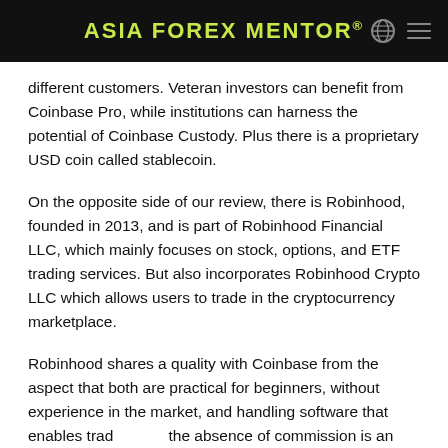ASIA FOREX MENTOR®
different customers. Veteran investors can benefit from Coinbase Pro, while institutions can harness the potential of Coinbase Custody. Plus there is a proprietary USD coin called stablecoin.
On the opposite side of our review, there is Robinhood, founded in 2013, and is part of Robinhood Financial LLC, which mainly focuses on stock, options, and ETF trading services. But also incorporates Robinhood Crypto LLC which allows users to trade in the cryptocurrency marketplace.
Robinhood shares a quality with Coinbase from the aspect that both are practical for beginners, without experience in the market, and handling software that enables trading and the absence of commission is an attractive benefit for crypto trading or investing in the options ETFs and stocks.